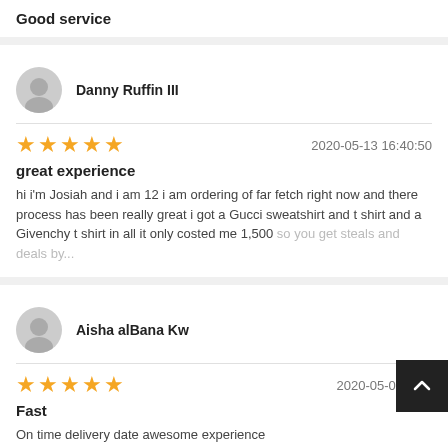Good service
Danny Ruffin III
2020-05-13 16:40:50
great experience
hi i'm Josiah and i am 12 i am ordering of far fetch right now and there process has been really great i got a Gucci sweatshirt and t shirt and a Givenchy t shirt in all it only costed me 1,500 so you get steals and deals by...
Aisha alBana Kw
2020-05-05 12:3...
Fast
On time delivery date awesome experience